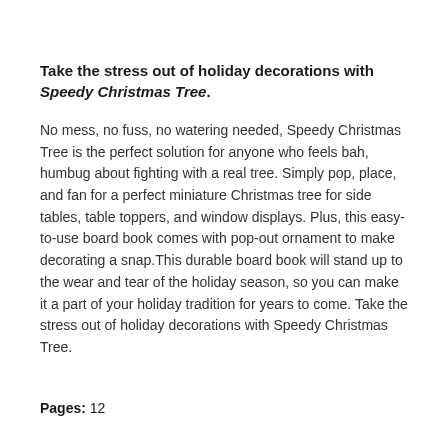Take the stress out of holiday decorations with Speedy Christmas Tree.
No mess, no fuss, no watering needed, Speedy Christmas Tree is the perfect solution for anyone who feels bah, humbug about fighting with a real tree. Simply pop, place, and fan for a perfect miniature Christmas tree for side tables, table toppers, and window displays. Plus, this easy-to-use board book comes with pop-out ornament to make decorating a snap.This durable board book will stand up to the wear and tear of the holiday season, so you can make it a part of your holiday tradition for years to come. Take the stress out of holiday decorations with Speedy Christmas Tree.
Pages: 12